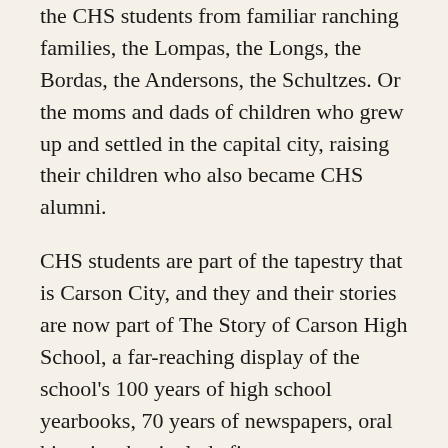the CHS students from familiar ranching families, the Lompas, the Longs, the Bordas, the Andersons, the Schultzes. Or the moms and dads of children who grew up and settled in the capital city, raising their children who also became CHS alumni.
CHS students are part of the tapestry that is Carson City, and they and their stories are now part of The Story of Carson High School, a far-reaching display of the school's 100 years of high school yearbooks, 70 years of newspapers, oral histories that include first-person memories, memorabilia and scrapbooks, now being developed through the CHS Library.
It is the ambitious project of two high school educators who have dived into the intricacies of bringing the dream into reality.
For the many years Patt Quinn-Davis taught English and journalism at CHS, archived yearbooks and newspapers were housed in her classroom, one of